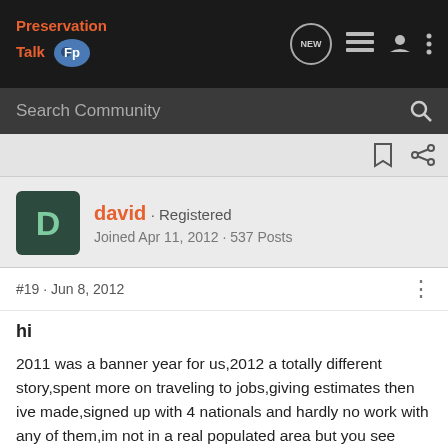Preservation Talk
Search Community
david · Registered
Joined Apr 11, 2012 · 537 Posts
#19 · Jun 8, 2012
hi
2011 was a banner year for us,2012 a totally different story,spent more on traveling to jobs,giving estimates then ive made,signed up with 4 nationals and hardly no work with any of them,im not in a real populated area but you see foreclosures everywhere and grass in yards a mile high.